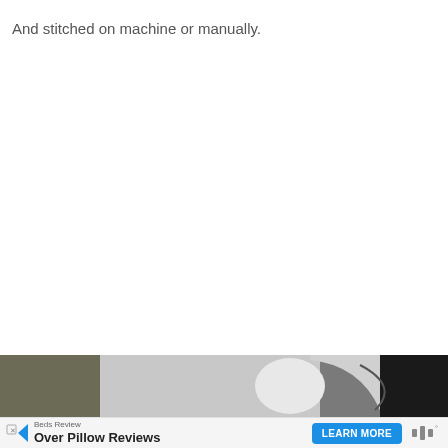And stitched on machine or manually.
[Figure (photo): Partial photo of what appears to be a sewing or pillow-related object, showing a white curved surface with dark elements in the background.]
[Figure (other): Advertisement banner: Beds Review — Over Pillow Reviews — LEARN MORE button — logo with sound wave icon and degree symbol]